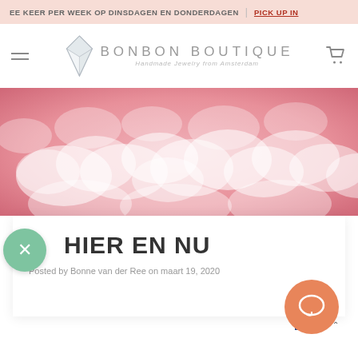EE KEER PER WEEK OP DINSDAGEN EN DONDERDAGEN | PICK UP IN
[Figure (logo): Bonbon Boutique logo with diamond/gem SVG icon, brand name 'BONBON BOUTIQUE' and tagline 'Handmade Jewelry from Amsterdam']
[Figure (photo): Pink clouds hero banner image with soft pink dreamy cloud background]
HIER EN NU
Posted by Bonne van der Ree on maart 19, 2020